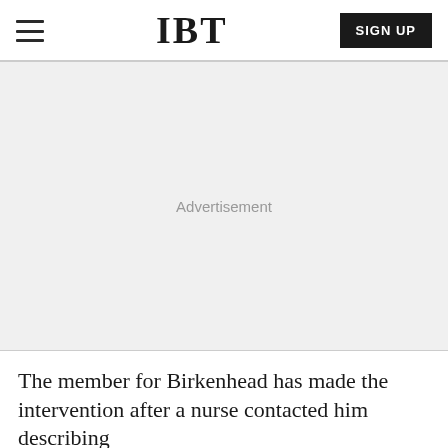IBT
[Figure (other): Advertisement placeholder area with light gray background]
The member for Birkenhead has made the intervention after a nurse contacted him describing